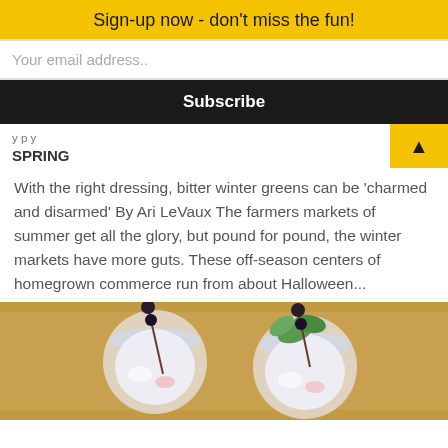Sign-up now - don't miss the fun!
Your email address..
Subscribe
SPRING
With the right dressing, bitter winter greens can be ‘charmed and disarmed’ By Ari LeVaux The farmers markets of summer get all the glory, but pound for pound, the winter markets have more guts. These off-season centers of homegrown commerce run from about Halloween...
[Figure (photo): Two cocktail glasses filled with icy drinks, garnished with mint leaves and berries on skewers, placed on a wooden board.]